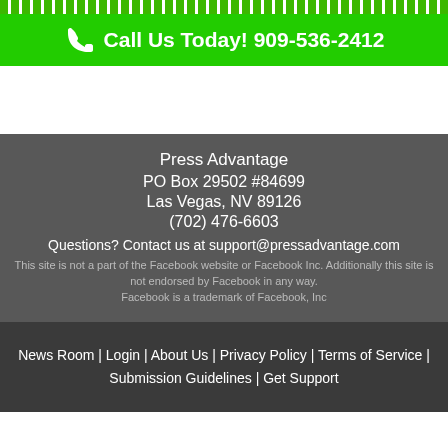[Figure (other): Green striped top bar banner]
Call Us Today! 909-536-2412
Press Advantage
PO Box 29502 #84699
Las Vegas, NV 89126
(702) 476-6603
Questions? Contact us at support@pressadvantage.com
This site is not a part of the Facebook website or Facebook Inc. Additionally this site is not endorsed by Facebook in any way.
Facebook is a trademark of Facebook, Inc
News Room | Login | About Us | Privacy Policy | Terms of Service | Submission Guidelines | Get Support